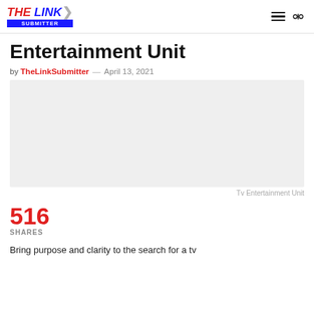THE LINK SUBMITTER
Entertainment Unit
by TheLinkSubmitter — April 13, 2021
[Figure (photo): Light grey placeholder image for Tv Entertainment Unit]
Tv Entertainment Unit
516
SHARES
Bring purpose and clarity to the search for a tv